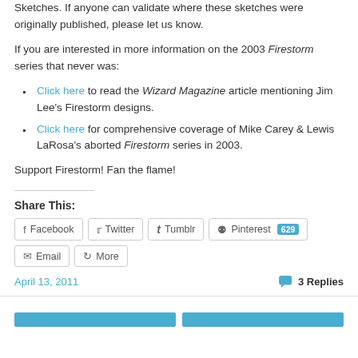Sketches. If anyone can validate where these sketches were originally published, please let us know.
If you are interested in more information on the 2003 Firestorm series that never was:
Click here to read the Wizard Magazine article mentioning Jim Lee's Firestorm designs.
Click here for comprehensive coverage of Mike Carey & Lewis LaRosa's aborted Firestorm series in 2003.
Support Firestorm! Fan the flame!
Share This:
Facebook  Twitter  Tumblr  Pinterest 629  Email  More
April 13, 2011  3 Replies